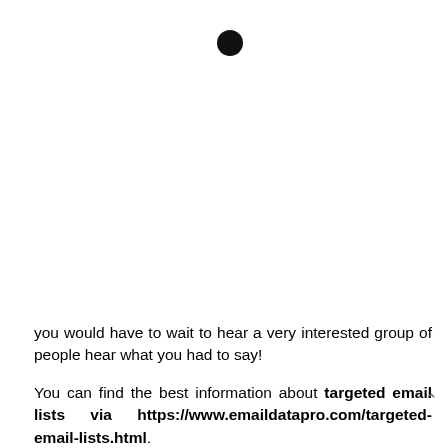[Figure (other): A single large black filled circle bullet point near the top center of the page]
you would have to wait to hear a very interested group of people hear what you had to say!

You can find the best information about targeted email lists via https://www.emaildatapro.com/targeted-email-lists.html.